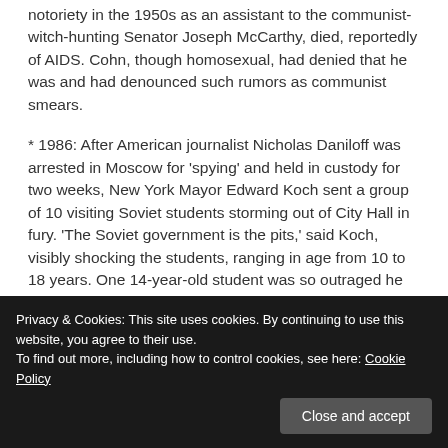notoriety in the 1950s as an assistant to the communist-witch-hunting Senator Joseph McCarthy, died, reportedly of AIDS. Cohn, though homosexual, had denied that he was and had denounced such rumors as communist smears.
* 1986: After American journalist Nicholas Daniloff was arrested in Moscow for 'spying' and held in custody for two weeks, New York Mayor Edward Koch sent a group of 10 visiting Soviet students storming out of City Hall in fury. 'The Soviet government is the pits,' said Koch, visibly shocking the students, ranging in age from 10 to 18 years. One 14-year-old student was so outraged he declared: 'I don't want to stay in this house. I want to go
his news gathering.
Privacy & Cookies: This site uses cookies. By continuing to use this website, you agree to their use.
To find out more, including how to control cookies, see here: Cookie Policy